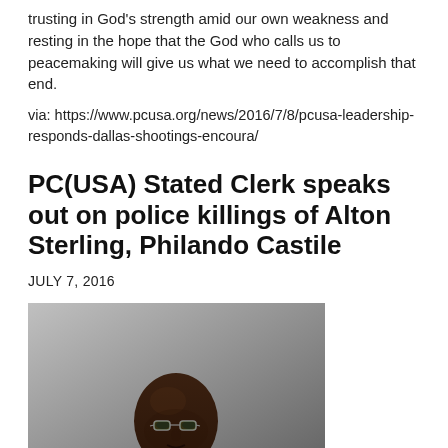trusting in God's strength amid our own weakness and resting in the hope that the God who calls us to peacemaking will give us what we need to accomplish that end.
via: https://www.pcusa.org/news/2016/7/8/pcusa-leadership-responds-dallas-shootings-encoura/
PC(USA) Stated Clerk speaks out on police killings of Alton Sterling, Philando Castile
JULY 7, 2016
[Figure (photo): Portrait photo of a bald Black man wearing glasses, photographed against a gray background, visible from shoulders up.]